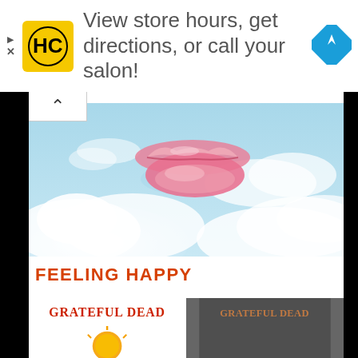[Figure (screenshot): Ad banner with HC (Hair Cuttery) logo, text 'View store hours, get directions, or call your salon!', and blue navigation diamond icon. Has close/play buttons on left edge.]
[Figure (photo): Sky scene with fluffy white clouds on light blue background, with large pink lips floating in the center-upper area of the image.]
FEELING HAPPY
[Figure (illustration): Grateful Dead album cover (left) showing red stylized text 'GRATEFUL DEAD' with a circular orange/yellow element at the bottom.]
[Figure (illustration): Grateful Dead album cover (right) showing dark/grey toned version with text 'GRATEFUL DEAD'.]